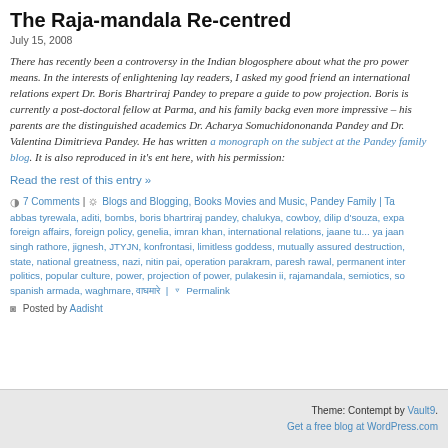The Raja-mandala Re-centred
July 15, 2008
There has recently been a controversy in the Indian blogosphere about what the projection of power means. In the interests of enlightening lay readers, I asked my good friend and international relations expert Dr. Boris Bhartriraj Pandey to prepare a guide to power projection. Boris is currently a post-doctoral fellow at Parma, and his family background is even more impressive – his parents are the distinguished academics Dr. Acharya Somuchidononanda Pandey and Dr. Valentina Dimitrieva Pandey. He has written a monograph on the subject at the Pandey family blog. It is also reproduced in it's entirety here, with his permission:
Read the rest of this entry »
7 Comments | Blogs and Blogging, Books Movies and Music, Pandey Family | Tags: abbas tyrewala, aditi, bombs, boris bhartriraj pandey, chalukya, cowboy, dilip d'souza, expat, foreign affairs, foreign policy, genelia, imran khan, international relations, jaane tu... ya jaane na, singh rathore, jignesh, JTYJN, konfrontasi, limitless goddess, mutually assured destruction, nation state, national greatness, nazi, nitin pai, operation parakram, paresh rawal, permanent interests, politics, popular culture, power, projection of power, pulakesin ii, rajamandala, semiotics, soft power, spanish armada, waghmare, वाघमारे | Permalink
Posted by Aadisht
Theme: Contempt by Vault9. Get a free blog at WordPress.com